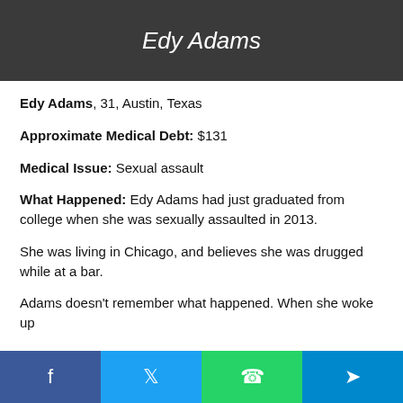Edy Adams
Edy Adams, 31, Austin, Texas
Approximate Medical Debt: $131
Medical Issue: Sexual assault
What Happened: Edy Adams had just graduated from college when she was sexually assaulted in 2013.
She was living in Chicago, and believes she was drugged while at a bar.
Adams doesn't remember what happened. When she woke up